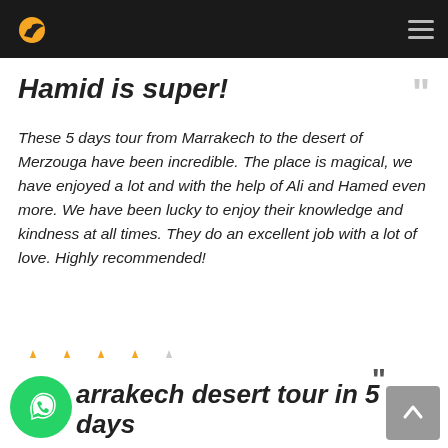Navigation bar with logo and hamburger menu
Hamid is super!
These 5 days tour from Marrakech to the desert of Merzouga have been incredible. The place is magical, we have enjoyed a lot and with the help of Ali and Hamed even more. We have been lucky to enjoy their knowledge and kindness at all times. They do an excellent job with a lot of love. Highly recommended!
★★★★☆ Anna G
arrakech desert tour in 5 days